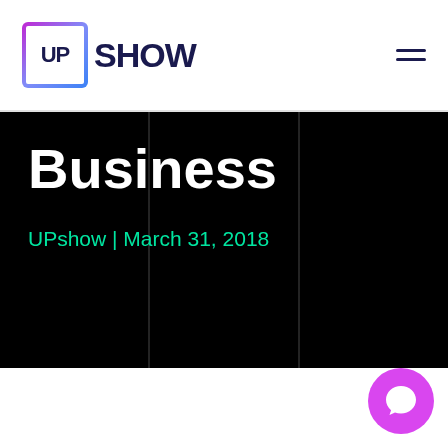UPshow
Business
UPshow | March 31, 2018
[Figure (illustration): Circular magenta chat button icon with speech bubble symbol in lower right corner of page]